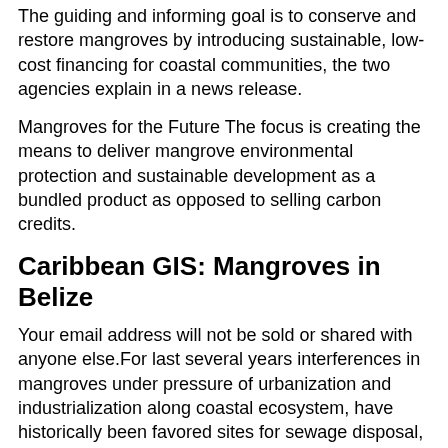The guiding and informing goal is to conserve and restore mangroves by introducing sustainable, low-cost financing for coastal communities, the two agencies explain in a news release.
Mangroves for the Future The focus is creating the means to deliver mangrove environmental protection and sustainable development as a bundled product as opposed to selling carbon credits.
Caribbean GIS: Mangroves in Belize
Your email address will not be sold or shared with anyone else.For last several years interferences in mangroves under pressure of urbanization and industrialization along coastal ecosystem, have historically been favored sites for sewage disposal, industrial effluents which have contributed to soil, water and plant timberdesignmag.com: Sakineh Lotfinasabasl.